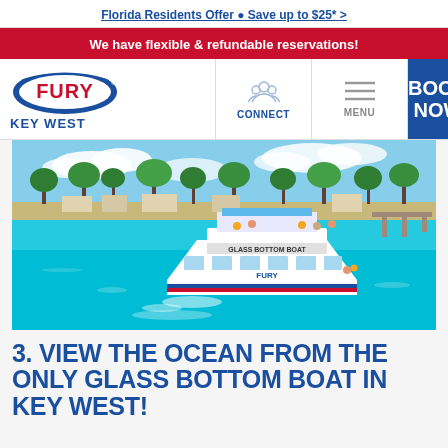Florida Residents Offer • Save up to $25* >
We have flexible & refundable reservations!
[Figure (logo): Fury Key West logo with blue oval and red FURY text, KEY WEST in blue below]
CONNECT
MENU
BOOK NOW
[Figure (photo): Aerial view of Fury Glass Bottom Boat on bright turquoise water near a tropical island with white sand beach and palm trees]
3. VIEW THE OCEAN FROM THE ONLY GLASS BOTTOM BOAT IN KEY WEST!